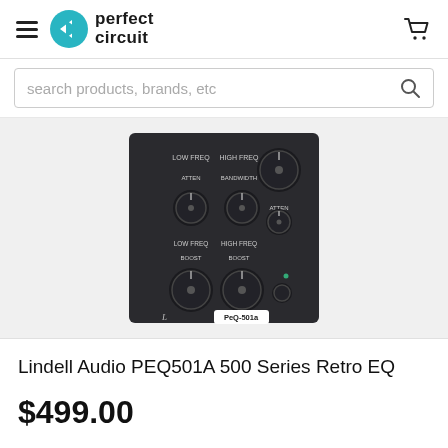Perfect Circuit
[Figure (screenshot): Perfect Circuit website header with hamburger menu, teal logo, and shopping cart icon]
[Figure (photo): Lindell Audio PEQ-501a 500 Series Retro EQ hardware unit — dark grey faceplate with multiple rotary knobs labeled LOW FREQ, HIGH FREQ, ATTEN, BANDWIDTH, BOOST]
Lindell Audio PEQ501A 500 Series Retro EQ
$499.00